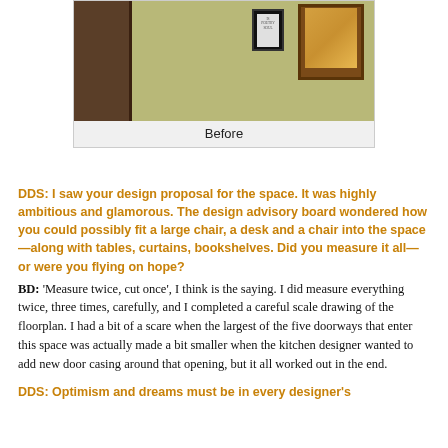[Figure (photo): Interior photo showing a dark wooden door on the left, a wall-mounted framed sign and a framed artwork/painting on a green-tan wall. This appears to be a 'Before' photo of a room space.]
Before
DDS: I saw your design proposal for the space. It was highly ambitious and glamorous. The design advisory board wondered how you could possibly fit a large chair, a desk and a chair into the space—along with tables, curtains, bookshelves. Did you measure it all—or were you flying on hope?
BD: 'Measure twice, cut once', I think is the saying. I did measure everything twice, three times, carefully, and I completed a careful scale drawing of the floorplan. I had a bit of a scare when the largest of the five doorways that enter this space was actually made a bit smaller when the kitchen designer wanted to add new door casing around that opening, but it all worked out in the end.
DDS: Optimism and dreams must be in every designer's